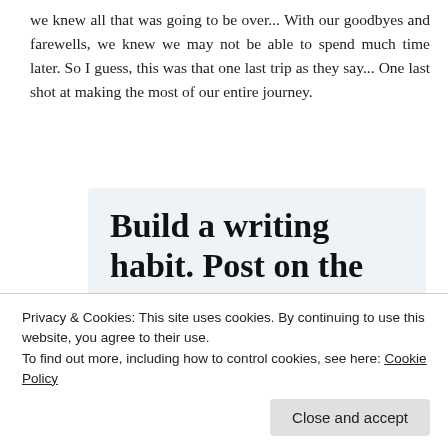we knew all that was going to be over... With our goodbyes and farewells, we knew we may not be able to spend much time later. So I guess, this was that one last trip as they say... One last shot at making the most of our entire journey.
[Figure (infographic): WordPress app advertisement with light blue background. Large bold serif text reads 'Build a writing habit. Post on the go.' A 'GET THE APP' link in blue and a WordPress circular logo icon are shown at the bottom.]
Privacy & Cookies: This site uses cookies. By continuing to use this website, you agree to their use.
To find out more, including how to control cookies, see here: Cookie Policy
Close and accept